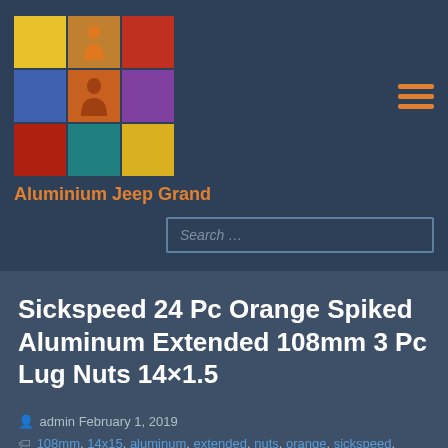[Figure (logo): 3x3 color grid logo with person silhouette icon in center cell]
Aluminium Jeep Grand
Sickspeed 24 Pc Orange Spiked Aluminum Extended 108mm 3 Pc Lug Nuts 14×1.5
admin February 1, 2019
108mm, 14x15, aluminum, extended, nuts, orange, sickspeed, spiked
Posted in sickspeed